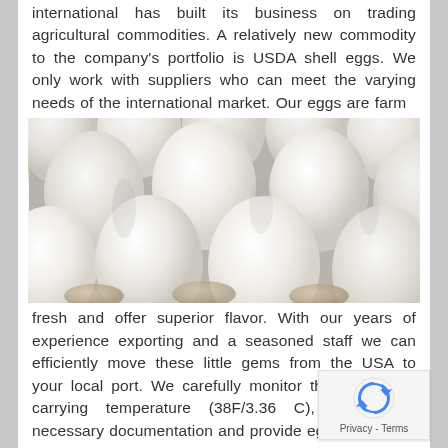international has built its business on trading agricultural commodities. A relatively new commodity to the company's portfolio is USDA shell eggs. We only work with suppliers who can meet the varying needs of the international market. Our eggs are farm
[Figure (photo): Close-up photograph of many white shell eggs arranged together, filling the frame, with egg carton holders visible at the bottom.]
fresh and offer superior flavor. With our years of experience exporting and a seasoned staff we can efficiently move these little gems from the USA to your local port. We carefully monitor the container's carrying temperature (38F/3.36 C), create the necessary documentation and provide egg-